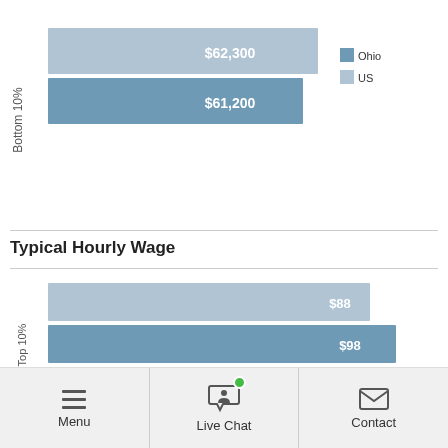[Figure (grouped-bar-chart): Bottom 10% (partial, top of page)]
Typical Hourly Wage
[Figure (grouped-bar-chart): Typical Hourly Wage]
Menu | Live Chat | Contact